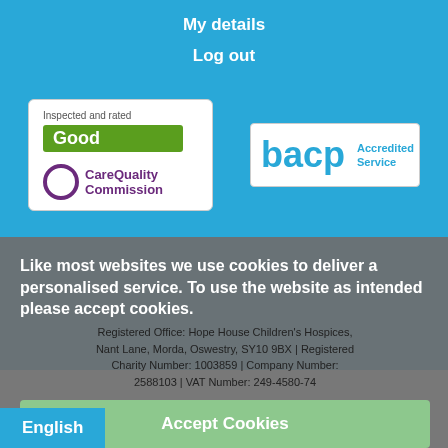My details
Log out
[Figure (logo): CQC badge - Inspected and rated Good, CareQuality Commission logo]
[Figure (logo): BACP Accredited Service logo]
Like most websites we use cookies to deliver a personalised service. To use the website as intended please accept cookies.
Registered Office: Hope House Children's Hospices, Nant Lane, Morda, Oswestry, SY10 9BX | Registered Charity Number: 1003859 | Company Number: 2588103 | VAT Number: 249-4580-74
Accept Cookies
English